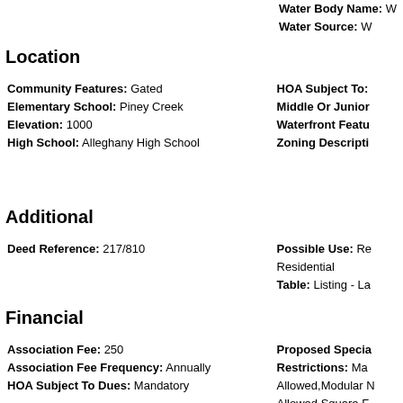Water Body Name: W
Water Source: W
Location
Community Features: Gated
Elementary School: Piney Creek
Elevation: 1000
High School: Alleghany High School
HOA Subject To:
Middle Or Junior
Waterfront Featu
Zoning Descripti
Additional
Deed Reference: 217/810
Possible Use: Re
Residential
Table: Listing - La
Financial
Association Fee: 250
Association Fee Frequency: Annually
HOA Subject To Dues: Mandatory
Proposed Specia
Restrictions: Ma
Allowed,Modular N
Allowed,Square F
Special Listing C